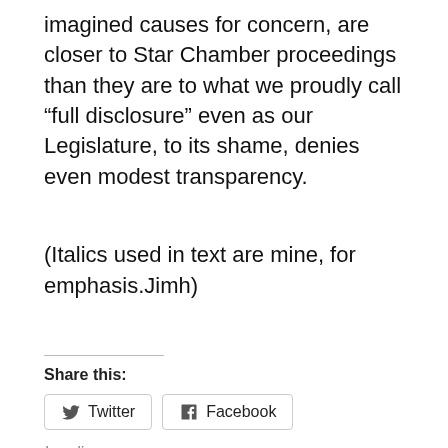imagined causes for concern, are closer to Star Chamber proceedings than they are to what we proudly call “full disclosure” even as our Legislature, to its shame, denies even modest transparency.
(Italics used in text are mine, for emphasis.Jimh)
Share this:
Twitter
Facebook
Loading…